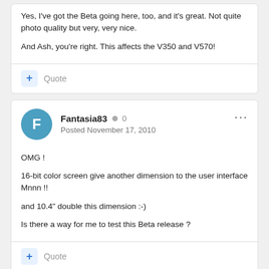Yes, I've got the Beta going here, too, and it's great. Not quite photo quality but very, very nice.

And Ash, you're right. This affects the V350 and V570!
+ Quote
Fantasia83 ● 0
Posted November 17, 2010
OMG !

16-bit color screen give another dimension to the user interface Mnnn !!

and 10.4" double this dimension :-)

Is there a way for me to test this Beta release ?
+ Quote